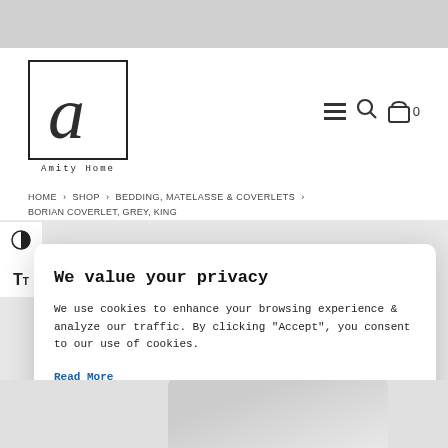[Figure (logo): Amity Home logo: decorative cursive letter 'a' inside a rectangle border, with 'Amity Home' in monospace below]
[Figure (infographic): Navigation icons: hamburger menu, search magnifying glass, shopping bag with 0]
HOME > SHOP > BEDDING, MATELASSE & COVERLETS >
BORIAN COVERLET, GREY, KING
We value your privacy
We use cookies to enhance your browsing experience & analyze our traffic. By clicking "Accept", you consent to our use of cookies.
Read More
ACCEPT
REJECT
Cookie settings